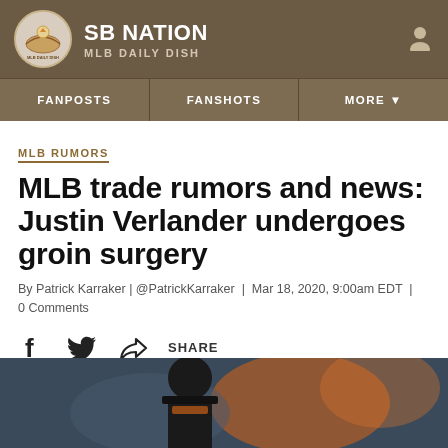SB NATION / MLB DAILY DISH
MLB RUMORS
MLB trade rumors and news: Justin Verlander undergoes groin surgery
By Patrick Karraker | @PatrickKarraker | Mar 18, 2020, 9:00am EDT | 0 Comments
[Figure (other): Social share buttons: Facebook, Twitter, Share]
[Figure (photo): Photo of a baseball player, cropped at bottom of page]